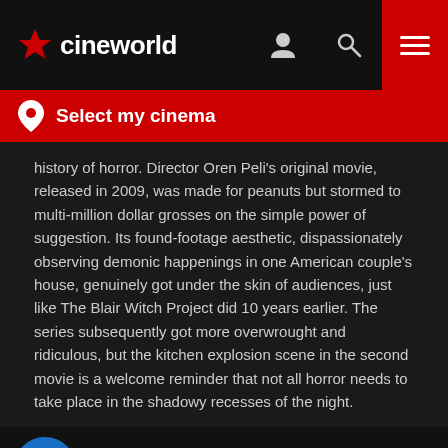cineworld
Select my cinema
history of horror. Director Oren Peli's original movie, released in 2009, was made for peanuts but stormed to multi-million dollar grosses on the simple power of suggestion. Its found-footage aesthetic, dispassionately observing demonic happenings in one American couple's house, genuinely got under the skin of audiences, just like The Blair Witch Project did 10 years earlier. The series subsequently got more overwrought and ridiculous, but the kitchen explosion scene in the second movie is a welcome reminder that not all horror needs to take place in the shadowy recesses of the night.
[Figure (screenshot): Embedded video thumbnail for Paranormal Activity 2 (5/10) Movie CLIP - Kitchen scene, with Rotten Tomatoes Movie Clips badge logo]